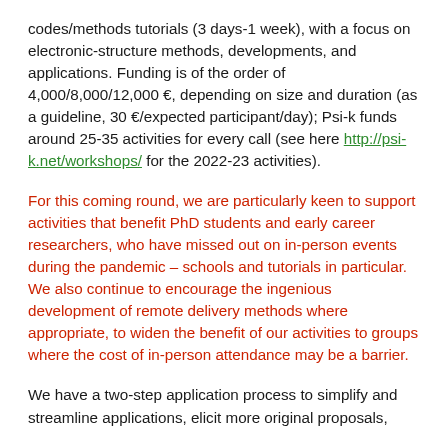codes/methods tutorials (3 days-1 week), with a focus on electronic-structure methods, developments, and applications. Funding is of the order of 4,000/8,000/12,000 €, depending on size and duration (as a guideline, 30 €/expected participant/day); Psi-k funds around 25-35 activities for every call (see here http://psi-k.net/workshops/ for the 2022-23 activities).
For this coming round, we are particularly keen to support activities that benefit PhD students and early career researchers, who have missed out on in-person events during the pandemic – schools and tutorials in particular. We also continue to encourage the ingenious development of remote delivery methods where appropriate, to widen the benefit of our activities to groups where the cost of in-person attendance may be a barrier.
We have a two-step application process to simplify and streamline applications, elicit more original proposals,